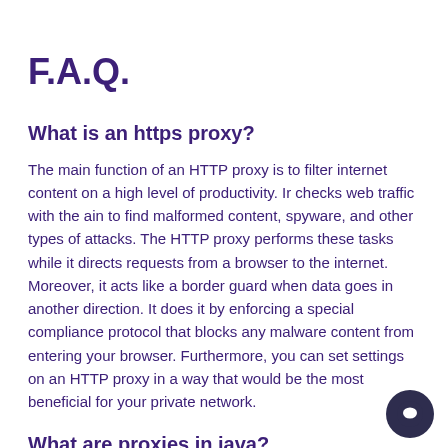F.A.Q.
What is an https proxy?
The main function of an HTTP proxy is to filter internet content on a high level of productivity. Ir checks web traffic with the ain to find malformed content, spyware, and other types of attacks. The HTTP proxy performs these tasks while it directs requests from a browser to the internet. Moreover, it acts like a border guard when data goes in another direction. It does it by enforcing a special compliance protocol that blocks any malware content from entering your browser. Furthermore, you can set settings on an HTTP proxy in a way that would be the most beneficial for your private network.
What are proxies in java?
The proxy is a piece of software design paradigm in the